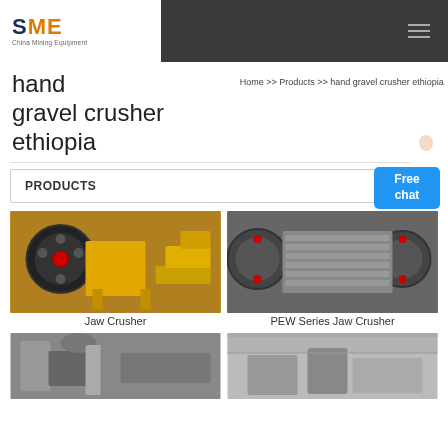SME China Mining Equipment
hand gravel crusher ethiopia
Home >> Products >> hand gravel crusher ethiopia
PRODUCTS
[Figure (photo): Yellow jaw crusher machine in industrial setting]
Jaw Crusher
[Figure (photo): PEW series jaw crusher, grey metal industrial machine]
PEW Series Jaw Crusher
[Figure (photo): Industrial grinding mill machine]
[Figure (photo): Industrial crusher equipment in warehouse]